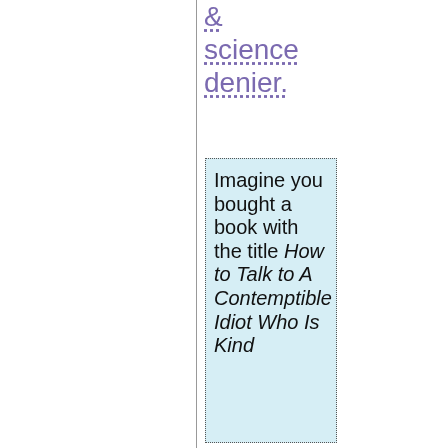& science denier.
Imagine you bought a book with the title How to Talk to A Contemptible Idiot Who Is Kind